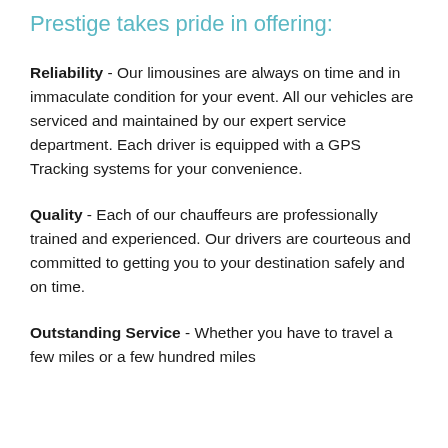Prestige takes pride in offering:
Reliability - Our limousines are always on time and in immaculate condition for your event. All our vehicles are serviced and maintained by our expert service department. Each driver is equipped with a GPS Tracking systems for your convenience.
Quality - Each of our chauffeurs are professionally trained and experienced. Our drivers are courteous and committed to getting you to your destination safely and on time.
Outstanding Service - Whether you have to travel a few miles or a few hundred miles